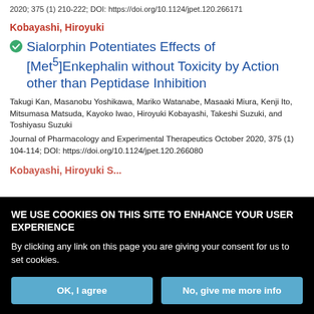2020; 375 (1) 210-222; DOI: https://doi.org/10.1124/jpet.120.266171
Kobayashi, Hiroyuki
Sialorphin Potentiates Effects of [Met5]Enkephalin without Toxicity by Action other than Peptidase Inhibition
Takugi Kan, Masanobu Yoshikawa, Mariko Watanabe, Masaaki Miura, Kenji Ito, Mitsumasa Matsuda, Kayoko Iwao, Hiroyuki Kobayashi, Takeshi Suzuki, and Toshiyasu Suzuki
Journal of Pharmacology and Experimental Therapeutics October 2020, 375 (1) 104-114; DOI: https://doi.org/10.1124/jpet.120.266080
Kobayashi, Hiroyuki S...
WE USE COOKIES ON THIS SITE TO ENHANCE YOUR USER EXPERIENCE

By clicking any link on this page you are giving your consent for us to set cookies.